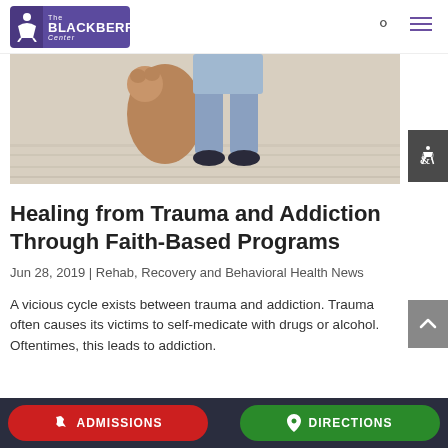[Figure (logo): The Blackberry Center logo — purple rectangle with white figure icon on left and 'The BLACKBERRY Center' text on right]
[Figure (photo): A child standing on a light wood floor holding a teddy bear, only lower body and legs visible, wearing jeans and sneakers]
Healing from Trauma and Addiction Through Faith-Based Programs
Jun 28, 2019 | Rehab, Recovery and Behavioral Health News
A vicious cycle exists between trauma and addiction. Trauma often causes its victims to self-medicate with drugs or alcohol. Oftentimes, this leads to addiction.